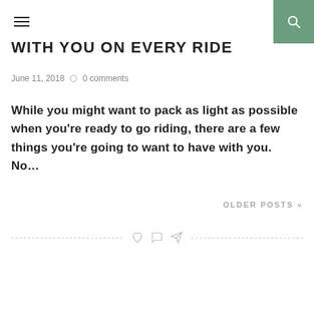WITH YOU ON EVERY RIDE
June 11, 2018   0 comments
While you might want to pack as light as possible when you’re ready to go riding, there are a few things you’re going to want to have with you. No…
OLDER POSTS »